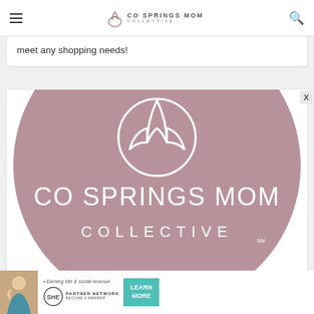CO SPRINGS MOM COLLECTIVE
meet any shopping needs!
[Figure (logo): CO Springs Mom Collective logo — large mauve/dusty rose circle with white tulip/flower icon and white text 'CO SPRINGS MOM COLLECTIVE' on circular background]
[Figure (infographic): SHE Partner Network advertisement banner: woman photo, 'Earning site & social revenue', SHE logo, LEARN MORE button]